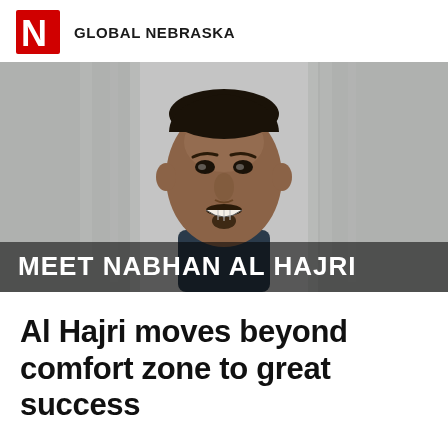GLOBAL NEBRASKA
[Figure (photo): Portrait photo of Nabhan Al Hajri, a young man smiling, with blurred gray background. White text overlay reads MEET NABHAN AL HAJRI.]
Al Hajri moves beyond comfort zone to great success